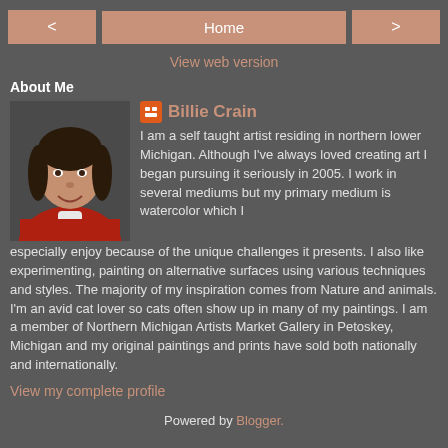< Home >
View web version
About Me
[Figure (photo): Profile photo of Billie Crain, a woman in a red jacket smiling, with dark short hair]
Billie Crain
I am a self taught artist residing in northern lower Michigan. Although I've always loved creating art I began pursuing it seriously in 2005. I work in several mediums but my primary medium is watercolor which I especially enjoy because of the unique challenges it presents. I also like experimenting, painting on alternative surfaces using various techniques and styles. The majority of my inspiration comes from Nature and animals. I'm an avid cat lover so cats often show up in many of my paintings. I am a member of Northern Michigan Artists Market Gallery in Petoskey, Michigan and my original paintings and prints have sold both nationally and internationally.
View my complete profile
Powered by Blogger.